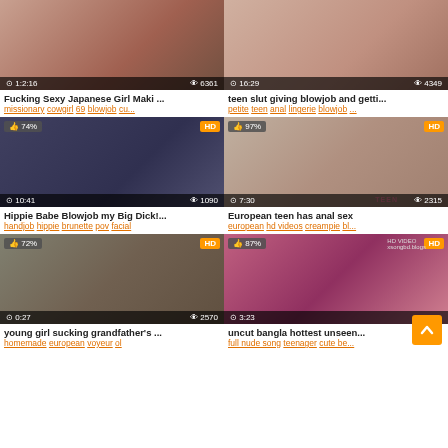[Figure (screenshot): Video thumbnail grid showing adult video website with 6 video cards in 2-column layout. Each card has a thumbnail image, duration, view count, title, and tags.]
Fucking Sexy Japanese Girl Maki ...
missionary cowgirl 69 blowjob cu...
teen slut giving blowjob and getti...
petite teen anal lingerie blowjob ...
Hippie Babe Blowjob my Big Dick!...
handjob hippie brunette pov facial
European teen has anal sex
european hd videos creampie bl...
young girl sucking grandfather's ...
homemade european voyeur ol
uncut bangla hottest unseen...
full nude song teenager cute be...